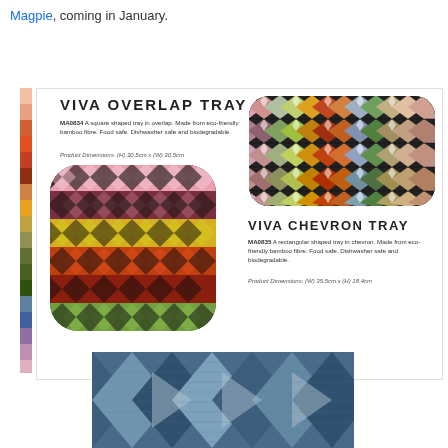Magpie, coming in January.
[Figure (illustration): Vertical color swatch strip showing multiple colors]
VIVA OVERLAP TRAY
MA0834 A square shaped tray in overlap. Made from eco-friendly bamboo fibre. Food safe. Dishwasher safe and biodegradable.
Product Dimensions: (H) 30.5cm x (W) 30.5cm
[Figure (photo): Square shaped tray with colorful overlap/diamond pattern in pink, brown, yellow, red, green colors]
[Figure (photo): Rectangular tray with colorful chevron/diamond pattern in multicolor]
VIVA CHEVRON TRAY
MA0835 A rectangular shaped tray in chevron. Made from eco-friendly bamboo fibre. Food safe. Dishwasher safe and biodegradable.
Product Dimensions: (W) 35.5cm x (H) 18.4cm
[Figure (photo): Close-up of blue/grey chevron patterned tray surface]